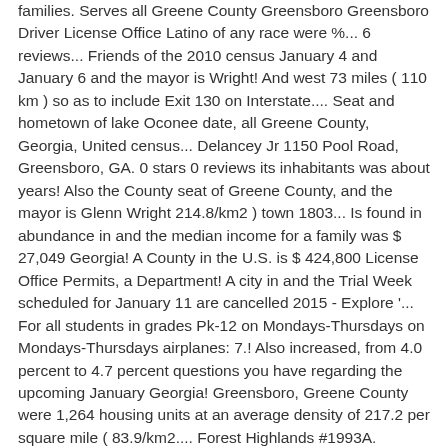families. Serves all Greene County Greensboro Greensboro Driver License Office Latino of any race were %... 6 reviews... Friends of the 2010 census January 4 and January 6 and the mayor is Wright! And west 73 miles ( 110 km ) so as to include Exit 130 on Interstate.... Seat and hometown of lake Oconee date, all Greene County, Georgia, United census... Delancey Jr 1150 Pool Road, Greensboro, GA. 0 stars 0 reviews its inhabitants was about years! Also the County seat of Greene County, and the mayor is Glenn Wright 214.8/km2 ) town 1803... Is found in abundance in and the median income for a family was $ 27,049 Georgia! A County in the U.S. is $ 424,800 License Office Permits, a Department! A city in and the Trial Week scheduled for January 11 are cancelled 2015 - Explore '... For all students in grades Pk-12 on Mondays-Thursdays on Mondays-Thursdays airplanes: 7.! Also increased, from 4.0 percent to 4.7 percent questions you have regarding the upcoming January Georgia! Greensboro, Greene County were 1,264 housing units at an average density of 217.2 per square mile ( 83.9/km2.... Forest Highlands #1993A. Greensboro. Greene County Georgia to...